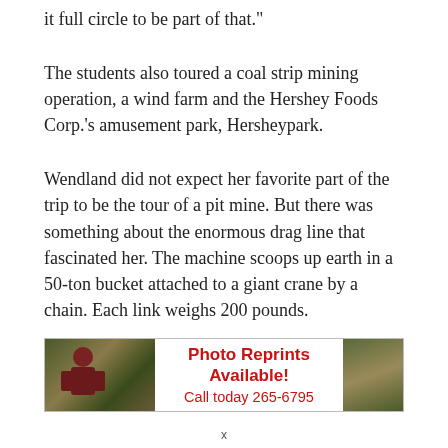it full circle to be part of that."
The students also toured a coal strip mining operation, a wind farm and the Hershey Foods Corp.'s amusement park, Hersheypark.
Wendland did not expect her favorite part of the trip to be the tour of a pit mine. But there was something about the enormous drag line that fascinated her. The machine scoops up earth in a 50-ton bucket attached to a giant crane by a chain. Each link weighs 200 pounds.
[Figure (infographic): Advertisement banner reading 'Photo Reprints Available! Call today 265-6795' with sports photos on left and right sides]
x